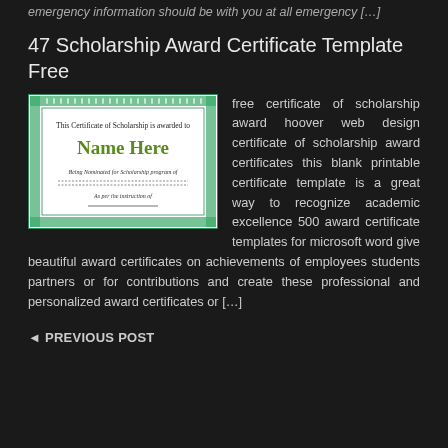emergency information should be with you at all emergency […]
47 Scholarship Award Certificate Template Free
[Figure (illustration): A scholarship award certificate template with green decorative border showing 'This Certificate of Scholarship is awarded to', 'Name Here' in large green text, 'Being Nominated for Scholarship program of', and 'As per the instruction of' with signature line.]
free certificate of scholarship award hoover web design certificate of scholarship award certificates this blank printable certificate template is a great way to recognize academic excellence 500 award certificate templates for microsoft word give beautiful award certificates on achievements of employees students partners or for contributions and create these professional and personalized award certificates or […]
◄ PREVIOUS POST